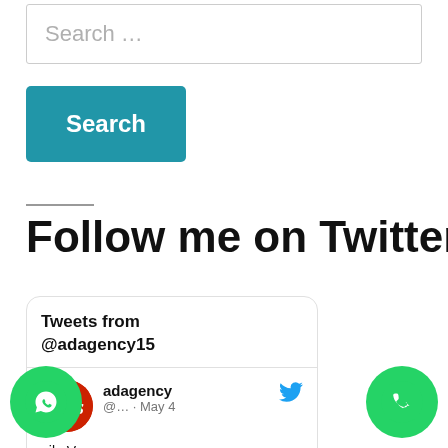Search …
Search
Follow me on Twitter
Tweets from @adagency15
adagency @… · May 4
oile Van Advertising Chennai